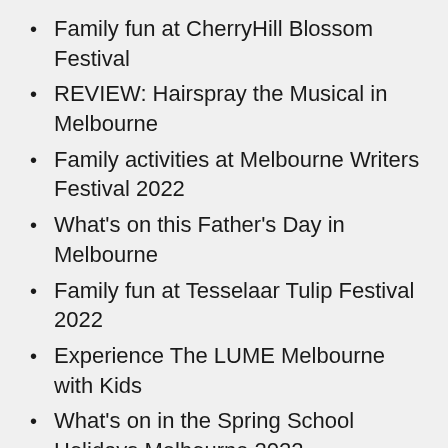Family fun at CherryHill Blossom Festival
REVIEW: Hairspray the Musical in Melbourne
Family activities at Melbourne Writers Festival 2022
What’s on this Father’s Day in Melbourne
Family fun at Tesselaar Tulip Festival 2022
Experience The LUME Melbourne with Kids
What’s on in the Spring School Holidays Melbourne 2022
Lightscape has arrived at the Royal Botanic Gardens Melbourne